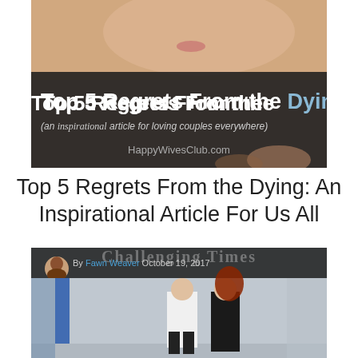[Figure (photo): An image showing a smiling woman with overlaid dark banner text reading 'Top 5 Regrets From the Dying' with subtitle '(an inspirational article for loving couples everywhere)' and 'HappyWivesClub.com'. Two hands are visible in the lower portion.]
Top 5 Regrets From the Dying: An Inspirational Article For Us All
[Figure (photo): A photo showing a man in white shirt and woman in black with red hair walking together from behind, with a newspaper-style header 'Challenging Times' overlaid at the top, and byline 'By Fawn Weaver October 19, 2017'.]